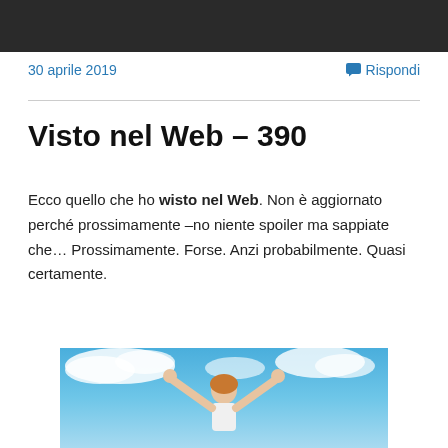[Figure (photo): Dark/black top image strip, cropped photo at top of page]
30 aprile 2019
Rispondi
Visto nel Web – 390
Ecco quello che ho wisto nel Web. Non è aggiornato perché prossimamente –no niente spoiler ma sappiate che… Prossimamente. Forse. Anzi probabilmente. Quasi certamente.
[Figure (photo): Woman with arms raised against a blue sky with clouds background]